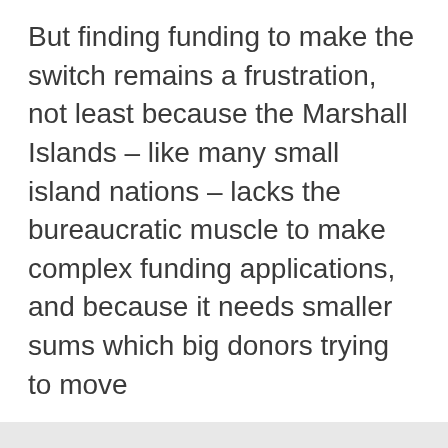But finding funding to make the switch remains a frustration, not least because the Marshall Islands – like many small island nations – lacks the bureaucratic muscle to make complex funding applications, and because it needs smaller sums which big donors trying to move
We use cookies
We use cookies and other tracking technologies to improve your browsing experience on our website, to show you personalized content and targeted ads, to analyze our website traffic, and to understand where our visitors are coming from.